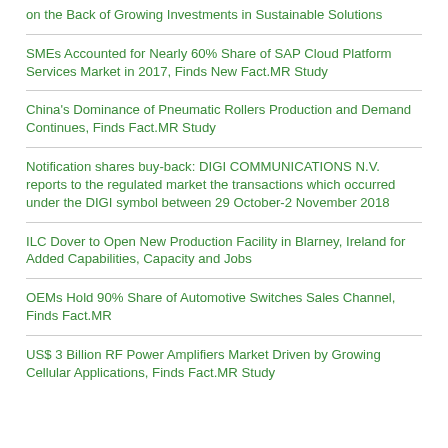on the Back of Growing Investments in Sustainable Solutions
SMEs Accounted for Nearly 60% Share of SAP Cloud Platform Services Market in 2017, Finds New Fact.MR Study
China's Dominance of Pneumatic Rollers Production and Demand Continues, Finds Fact.MR Study
Notification shares buy-back: DIGI COMMUNICATIONS N.V. reports to the regulated market the transactions which occurred under the DIGI symbol between 29 October-2 November 2018
ILC Dover to Open New Production Facility in Blarney, Ireland for Added Capabilities, Capacity and Jobs
OEMs Hold 90% Share of Automotive Switches Sales Channel, Finds Fact.MR
US$ 3 Billion RF Power Amplifiers Market Driven by Growing Cellular Applications, Finds Fact.MR Study